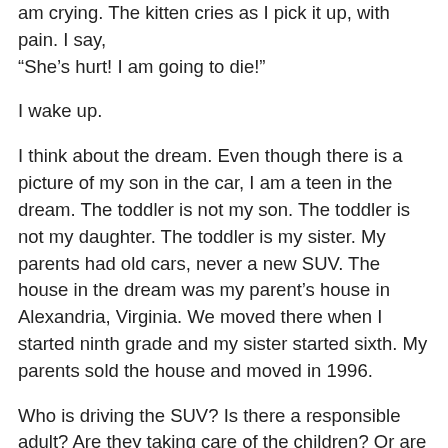am crying. The kitten cries as I pick it up, with pain. I say, “She’s hurt! I am going to die!”
I wake up.
I think about the dream. Even though there is a picture of my son in the car, I am a teen in the dream. The toddler is not my son. The toddler is not my daughter. The toddler is my sister. My parents had old cars, never a new SUV. The house in the dream was my parent’s house in Alexandria, Virginia. We moved there when I started ninth grade and my sister started sixth. My parents sold the house and moved in 1996.
Who is driving the SUV? Is there a responsible adult? Are they taking care of the children? Or are they driving recklessly and leaving the children to try to care for each other? Some adults are not responsible and should not be